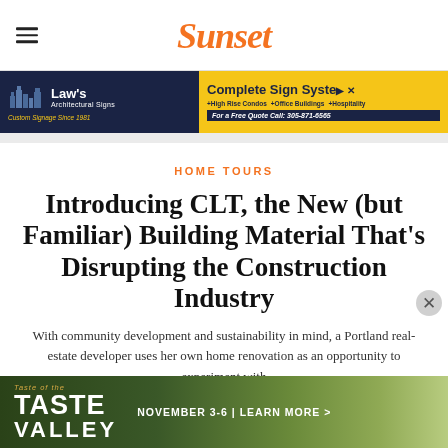Sunset
[Figure (screenshot): Law's Architectural Signs advertisement banner: Complete Sign Systems, High Rise Condos, Office Buildings, Hospitality, For a Free Quote Call: 305-871-6565]
HOME TOURS
Introducing CLT, the New (but Familiar) Building Material That's Disrupting the Construction Industry
With community development and sustainability in mind, a Portland real-estate developer uses her own home renovation as an opportunity to experiment with
[Figure (screenshot): Taste of the Valley advertisement banner: November 3-6 | Learn More >]